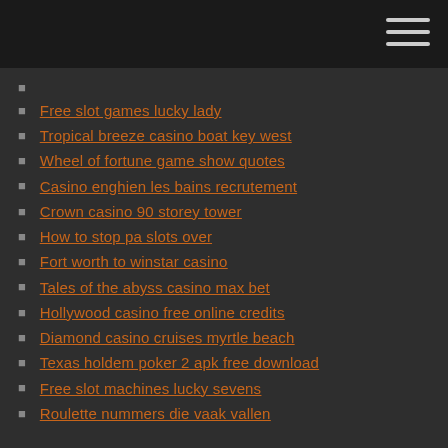Free slot games lucky lady
Tropical breeze casino boat key west
Wheel of fortune game show quotes
Casino enghien les bains recrutement
Crown casino 90 storey tower
How to stop pa slots over
Fort worth to winstar casino
Tales of the abyss casino max bet
Hollywood casino free online credits
Diamond casino cruises myrtle beach
Texas holdem poker 2 apk free download
Free slot machines lucky sevens
Roulette nummers die vaak vallen